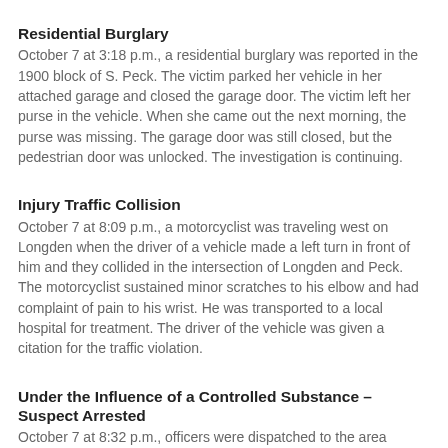Residential Burglary
October 7 at 3:18 p.m., a residential burglary was reported in the 1900 block of S. Peck. The victim parked her vehicle in her attached garage and closed the garage door. The victim left her purse in the vehicle. When she came out the next morning, the purse was missing. The garage door was still closed, but the pedestrian door was unlocked. The investigation is continuing.
Injury Traffic Collision
October 7 at 8:09 p.m., a motorcyclist was traveling west on Longden when the driver of a vehicle made a left turn in front of him and they collided in the intersection of Longden and Peck. The motorcyclist sustained minor scratches to his elbow and had complaint of pain to his wrist. He was transported to a local hospital for treatment. The driver of the vehicle was given a citation for the traffic violation.
Under the Influence of a Controlled Substance – Suspect Arrested
October 7 at 8:32 p.m., officers were dispatched to the area